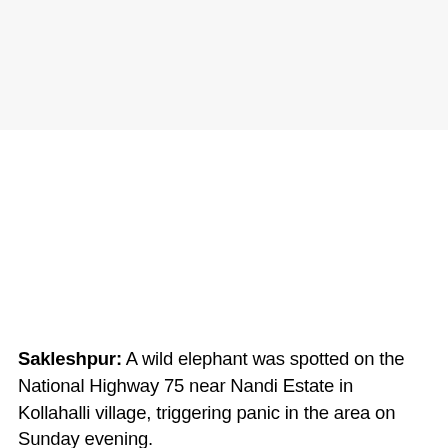Sakleshpur: A wild elephant was spotted on the National Highway 75 near Nandi Estate in Kollahalli village, triggering panic in the area on Sunday evening.